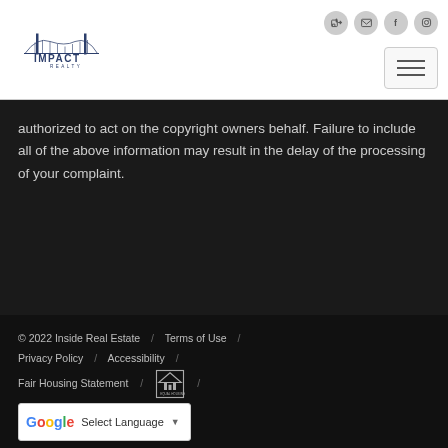[Figure (logo): Impact Realty logo with bridge icon above text]
authorized to act on the copyright owners behalf. Failure to include all of the above information may result in the delay of the processing of your complaint.
© 2022 Inside Real Estate / Terms of Use / Privacy Policy / Accessibility / Fair Housing Statement / [Equal Housing Opportunity icon] / [Google Translate selector]